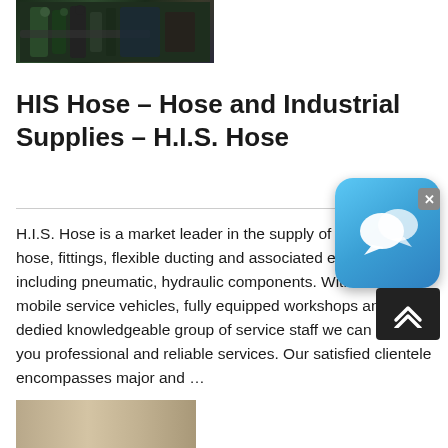[Figure (photo): Photo of hydraulic hose fittings and industrial equipment, dark green/black background]
HIS Hose – Hose and Industrial Supplies – H.I.S. Hose
H.I.S. Hose is a market leader in the supply of industrial hose, fittings, flexible ducting and associated equipment including pneumatic, hydraulic components. With a fleet of mobile service vehicles, fully equipped workshops and a dedied knowledgeable group of service staff we can offer you professional and reliable services. Our satisfied clientele encompasses major and …
[Figure (photo): Partial photo of industrial/vehicle equipment at bottom of page]